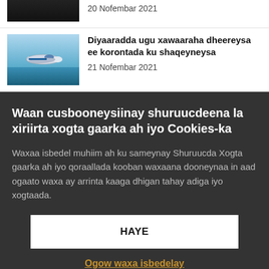[Figure (photo): Dark city aerial photo cropped at top, bottom portion visible]
20 Nofembar 2021
[Figure (illustration): Blue electric airplane flying over water]
Diyaaradda ugu xawaaraha dheereysa ee korontada ku shaqeyneysa
21 Nofembar 2021
Waan cusbooneysiinay shuruucdeena la xiriirta xogta gaarka ah iyo Cookies-ka
Waxaa isbedel muhiim ah ku sameynay Shuruucda Xogta gaarka ah iyo qoraallada kooban waxaana dooneynaa in aad ogaato waxa ay arrinta kaaga dhigan tahay adiga iyo xogtaada.
HAYE
Ogow waxa isbedelay